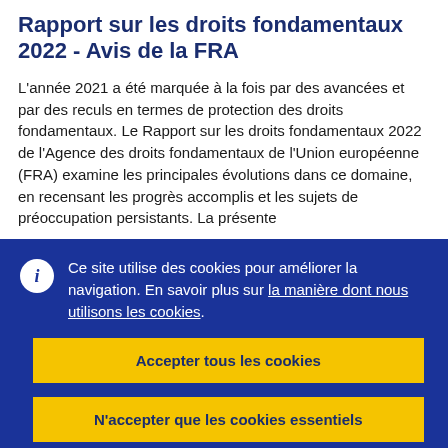Rapport sur les droits fondamentaux 2022 - Avis de la FRA
L'année 2021 a été marquée à la fois par des avancées et par des reculs en termes de protection des droits fondamentaux. Le Rapport sur les droits fondamentaux 2022 de l'Agence des droits fondamentaux de l'Union européenne (FRA) examine les principales évolutions dans ce domaine, en recensant les progrès accomplis et les sujets de préoccupation persistants. La présente
Ce site utilise des cookies pour améliorer la navigation. En savoir plus sur la manière dont nous utilisons les cookies.
Accepter tous les cookies
N'accepter que les cookies essentiels